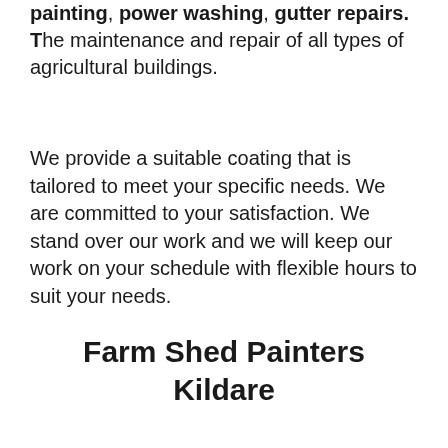painting, power washing, gutter repairs. The maintenance and repair of all types of agricultural buildings.
We provide a suitable coating that is tailored to meet your specific needs. We are committed to your satisfaction. We stand over our work and we will keep our work on your schedule with flexible hours to suit your needs.
Farm Shed Painters Kildare